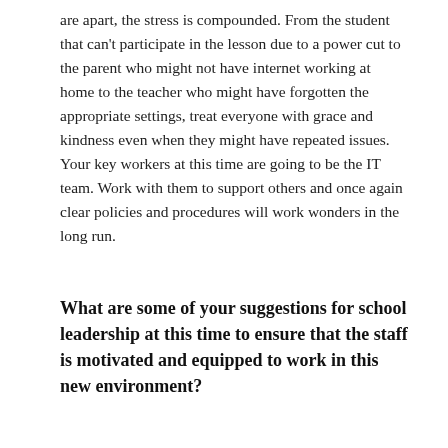are apart, the stress is compounded. From the student that can't participate in the lesson due to a power cut to the parent who might not have internet working at home to the teacher who might have forgotten the appropriate settings, treat everyone with grace and kindness even when they might have repeated issues. Your key workers at this time are going to be the IT team. Work with them to support others and once again clear policies and procedures will work wonders in the long run.
What are some of your suggestions for school leadership at this time to ensure that the staff is motivated and equipped to work in this new environment?